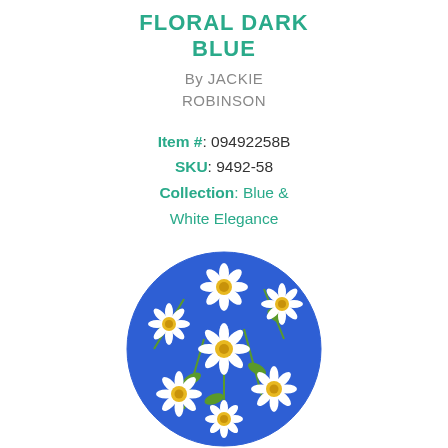FLORAL DARK BLUE
By JACKIE ROBINSON
Item #: 09492258B
SKU: 9492-58
Collection: Blue & White Elegance
[Figure (photo): Circular swatch of fabric showing white daisy flowers with yellow centers and green stems on a bright blue background]
DAISY BLUE BRIGHT BLUE